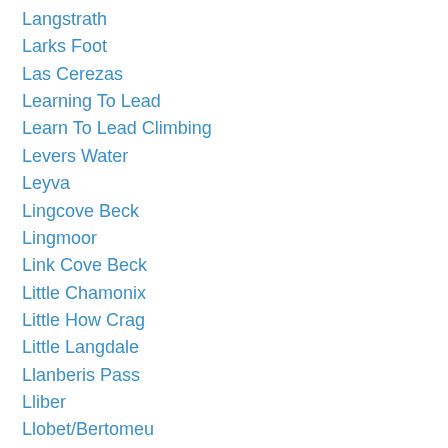Langstrath
Larks Foot
Las Cerezas
Learning To Lead
Learn To Lead Climbing
Levers Water
Leyva
Lingcove Beck
Lingmoor
Link Cove Beck
Little Chamonix
Little How Crag
Little Langdale
Llanberis Pass
Lliber
Llobet/Bertomeu
L'Ocaive
Lockdown
Loft Crag
Long Scar
Longsleddale